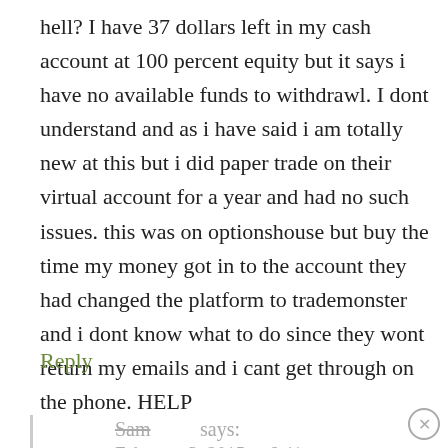hell? I have 37 dollars left in my cash account at 100 percent equity but it says i have no available funds to withdrawl. I dont understand and as i have said i am totally new at this but i did paper trade on their virtual account for a year and had no such issues. this was on optionshouse but buy the time my money got in to the account they had changed the platform to trademonster and i dont know what to do since they wont return my emails and i cant get through on the phone. HELP
Reply
Sam says:
February 3, 2015 at 6:41 pm